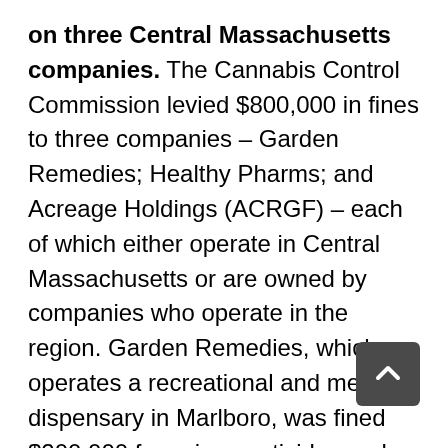on three Central Massachusetts companies. The Cannabis Control Commission levied $800,000 in fines to three companies – Garden Remedies; Healthy Pharms; and Acreage Holdings (ACRGF) – each of which either operate in Central Massachusetts or are owned by companies who operate in the region. Garden Remedies, which operates a recreational and medical dispensary in Marlboro, was fined $200,000 for using pesticides and trying to cover up their use by falsifying invoices. Healthy Pharms failed to immediately report test results showing the use of pesticides; unintentionally submitted false information; and incorrectly entered information into the Seed-to-Sale tracking program Metrc. Acreage Holdings was fined $250,000 for going forward with applications for licenses while trying to...